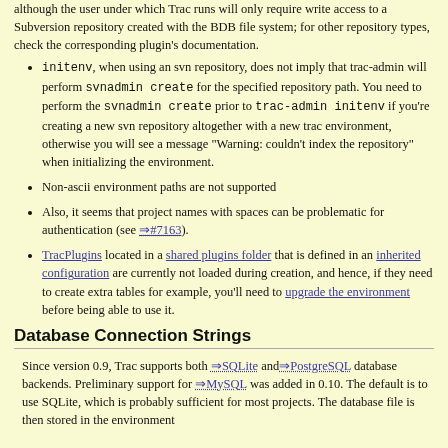although the user under which Trac runs will only require write access to a Subversion repository created with the BDB file system; for other repository types, check the corresponding plugin's documentation.
initenv, when using an svn repository, does not imply that trac-admin will perform svnadmin create for the specified repository path. You need to perform the svnadmin create prior to trac-admin initenv if you're creating a new svn repository altogether with a new trac environment, otherwise you will see a message "Warning: couldn't index the repository" when initializing the environment.
Non-ascii environment paths are not supported
Also, it seems that project names with spaces can be problematic for authentication (see ⇒#7163).
TracPlugins located in a shared plugins folder that is defined in an inherited configuration are currently not loaded during creation, and hence, if they need to create extra tables for example, you'll need to upgrade the environment before being able to use it.
Database Connection Strings
Since version 0.9, Trac supports both ⇒SQLite and ⇒PostgreSQL database backends. Preliminary support for ⇒MySQL was added in 0.10. The default is to use SQLite, which is probably sufficient for most projects. The database file is then stored in the environment